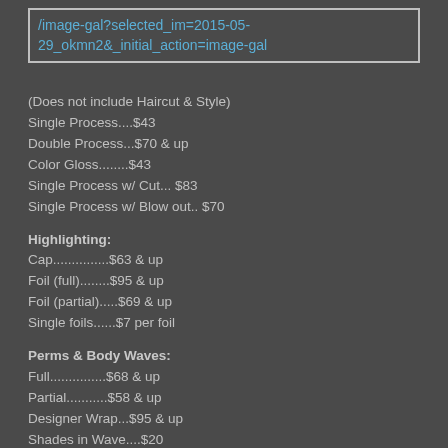[Figure (screenshot): URL link box with text: /image-gal?selected_im=2015-05-29_okmn2&_initial_action=image-gal]
(Does not include Haircut & Style)
Single Process....$43
Double Process...$70 & up
Color Gloss........$43
Single Process w/ Cut... $83
Single Process w/ Blow out.. $70
Highlighting:
Cap...............$63 & up
Foil (full)........$95 & up
Foil (partial).....$69 & up
Single foils......$7 per foil
Perms & Body Waves:
Full...............$68 & up
Partial...........$58 & up
Designer Wrap...$95 & up
Shades in Wave....$20
Salon Treatments: